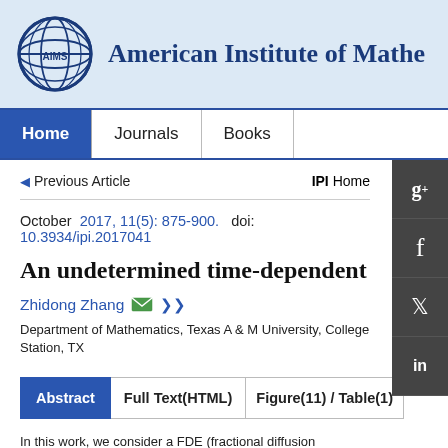[Figure (logo): AIMS globe logo with 'AIMS' text and globe graphic]
American Institute of Mathe
Home   Journals   Books
◄ Previous Article    IPI Home
October  2017, 11(5): 875-900.   doi: 10.3934/ipi.2017041
An undetermined time-dependent
Zhidong Zhang
Department of Mathematics, Texas A & M University, College Station, TX
Abstract   Full Text(HTML)   Figure(11) / Table(1)
In this work, we consider a FDE (fractional diffusion equation)